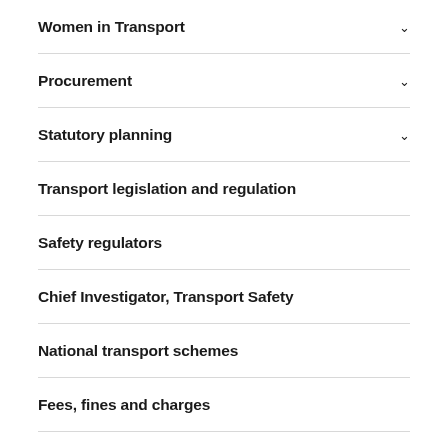Women in Transport
Procurement
Statutory planning
Transport legislation and regulation
Safety regulators
Chief Investigator, Transport Safety
National transport schemes
Fees, fines and charges
Planning